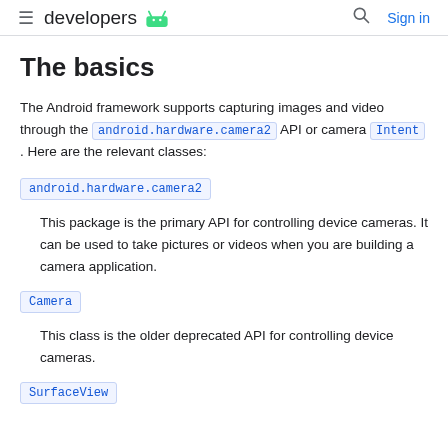≡ developers [android logo] 🔍 Sign in
The basics
The Android framework supports capturing images and video through the android.hardware.camera2 API or camera Intent . Here are the relevant classes:
android.hardware.camera2 — This package is the primary API for controlling device cameras. It can be used to take pictures or videos when you are building a camera application.
Camera — This class is the older deprecated API for controlling device cameras.
SurfaceView